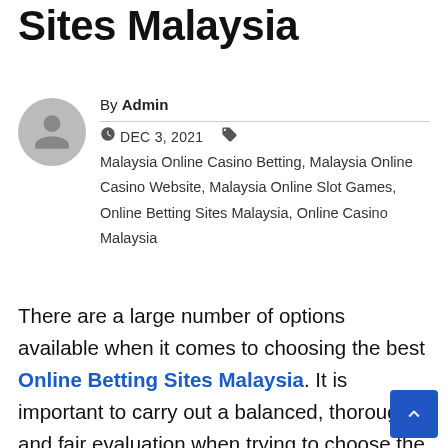Sites Malaysia
By Admin
DEC 3, 2021 | Malaysia Online Casino Betting, Malaysia Online Casino Website, Malaysia Online Slot Games, Online Betting Sites Malaysia, Online Casino Malaysia
There are a large number of options available when it comes to choosing the best Online Betting Sites Malaysia. It is important to carry out a balanced, thorough and fair evaluation when trying to choose the betting sites in Malaysia considering that there are a large number of these sites available. Some of the